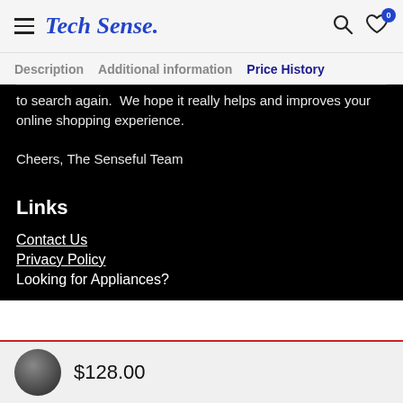Tech Sense.
Description  Additional information  Price History
to search again.  We hope it really helps and improves your online shopping experience.

Cheers, The Senseful Team
Links
Contact Us
Privacy Policy
Looking for Appliances?
$128.00